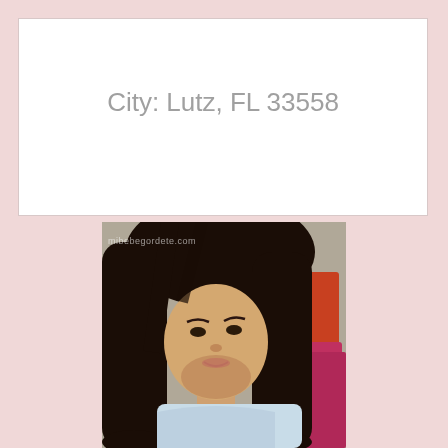City: Lutz, FL 33558
[Figure (photo): Photo of a young woman with long dark hair, wearing a light blue top, taking a selfie. Orange and pink items visible in background. Watermark reads: mibebegordete.com]